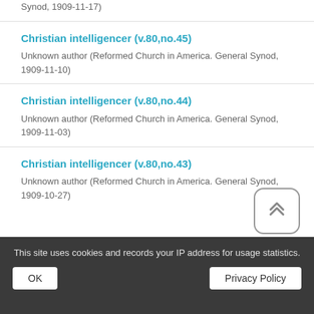Unknown author (Reformed Church in America. General Synod, 1909-11-17)
Christian intelligencer (v.80,no.45)
Unknown author (Reformed Church in America. General Synod, 1909-11-10)
Christian intelligencer (v.80,no.44)
Unknown author (Reformed Church in America. General Synod, 1909-11-03)
Christian intelligencer (v.80,no.43)
Unknown author (Reformed Church in America. General Synod, 1909-10-27)
This site uses cookies and records your IP address for usage statistics.